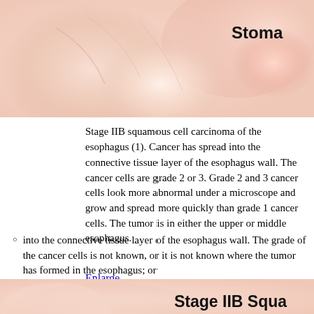[Figure (illustration): Medical illustration showing anatomy of esophagus and stomach area, cropped at top. Label 'Stoma' partially visible at top right. Soft pink/peach tones with organic blob shapes.]
Stage IIB squamous cell carcinoma of the esophagus (1). Cancer has spread into the connective tissue layer of the esophagus wall. The cancer cells are grade 2 or 3. Grade 2 and 3 cancer cells look more abnormal under a microscope and grow and spread more quickly than grade 1 cancer cells. The tumor is in either the upper or middle esophagus.
into the connective tissue layer of the esophagus wall. The grade of the cancer cells is not known, or it is not known where the tumor has formed in the esophagus; or
Enlarge
[Figure (illustration): Medical illustration at bottom showing esophagus anatomy, partially cropped. Label 'Stage IIB Squa...' partially visible at bottom right. Soft pink/peach tones.]